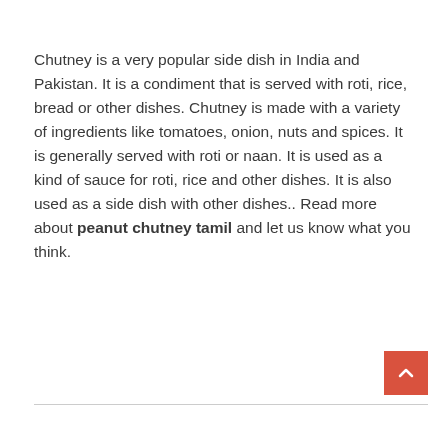Chutney is a very popular side dish in India and Pakistan. It is a condiment that is served with roti, rice, bread or other dishes. Chutney is made with a variety of ingredients like tomatoes, onion, nuts and spices. It is generally served with roti or naan. It is used as a kind of sauce for roti, rice and other dishes. It is also used as a side dish with other dishes.. Read more about peanut chutney tamil and let us know what you think.